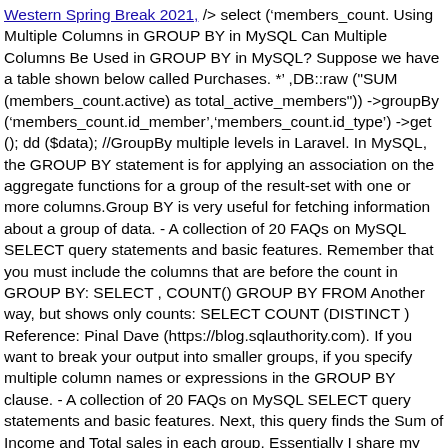Western Spring Break 2021, /> select ('members_count. Using Multiple Columns in GROUP BY in MySQL Can Multiple Columns Be Used in GROUP BY in MySQL? Suppose we have a table shown below called Purchases. *' ,DB::raw ("SUM (members_count.active) as total_active_members")) ->groupBy ('members_count.id_member','members_count.id_type') ->get (); dd ($data); //GroupBy multiple levels in Laravel. In MySQL, the GROUP BY statement is for applying an association on the aggregate functions for a group of the result-set with one or more columns.Group BY is very useful for fetching information about a group of data. - A collection of 20 FAQs on MySQL SELECT query statements and basic features. Remember that you must include the columns that are before the count in GROUP BY: SELECT , COUNT() GROUP BY FROM Another way, but shows only counts: SELECT COUNT (DISTINCT ) Reference: Pinal Dave (https://blog.sqlauthority.com). If you want to break your output into smaller groups, if you specify multiple column names or expressions in the GROUP BY clause. - A collection of 20 FAQs on MySQL SELECT query statements and basic features. Next, this query finds the Sum of Income and Total sales in each group. Essentially I share my business secrets to optimize SQL Server performance. The mysql version is much simpler by using function GROUP_CONCAT and the example is self-explantory. You can see this here: So instead of using REPLACE(GROUP_CONCAT(col),',','|')